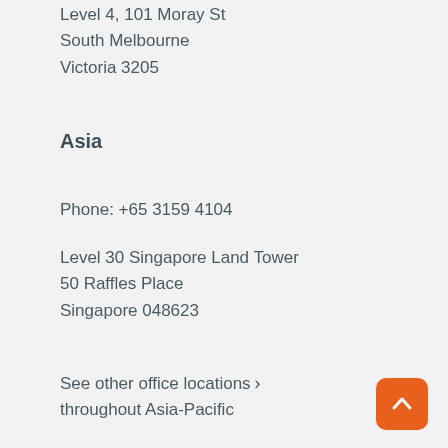Level 4, 101 Moray St
South Melbourne
Victoria 3205
Asia
Phone: +65 3159 4104
Level 30 Singapore Land Tower
50 Raffles Place
Singapore 048623
See other office locations throughout Asia-Pacific
Social